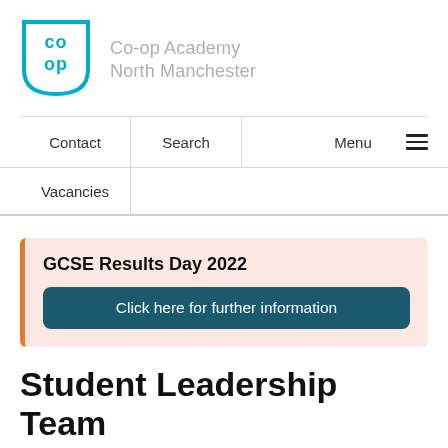[Figure (logo): Co-op Academy North Manchester shield logo with teal/cyan co-op symbol and school name in grey]
Co-op Academy
North Manchester
Contact | Search | Menu
Vacancies
GCSE Results Day 2022
Click here for further information
Student Leadership Team